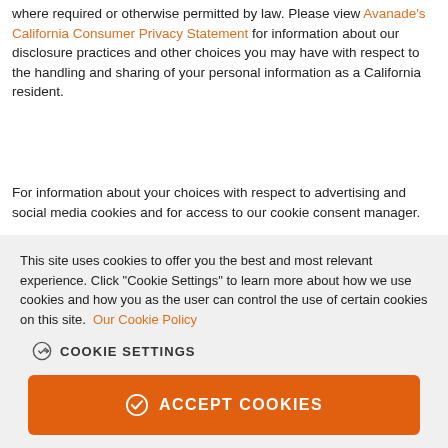where required or otherwise permitted by law. Please view Avanade's California Consumer Privacy Statement for information about our disclosure practices and other choices you may have with respect to the handling and sharing of your personal information as a California resident.
For information about your choices with respect to advertising and social media cookies and for access to our cookie consent manager.
This site uses cookies to offer you the best and most relevant experience. Click "Cookie Settings" to learn more about how we use cookies and how you as the user can control the use of certain cookies on this site. Our Cookie Policy
COOKIE SETTINGS
ACCEPT COOKIES